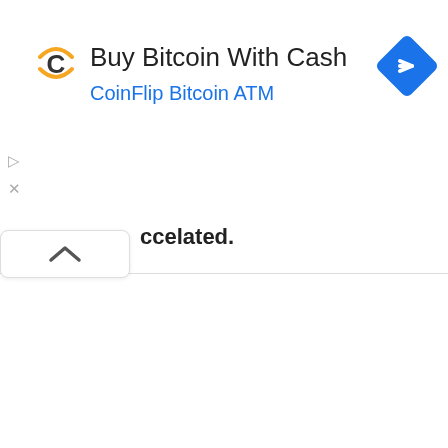...Find Yours Today!
[Figure (logo): CoinFlip C logo in orange/amber color]
Buy Bitcoin With Cash
CoinFlip Bitcoin ATM
[Figure (illustration): Blue diamond navigation/directions icon with white right-turn arrow]
▷
✕
ccelated.
[Figure (other): Collapse/chevron up button UI element]